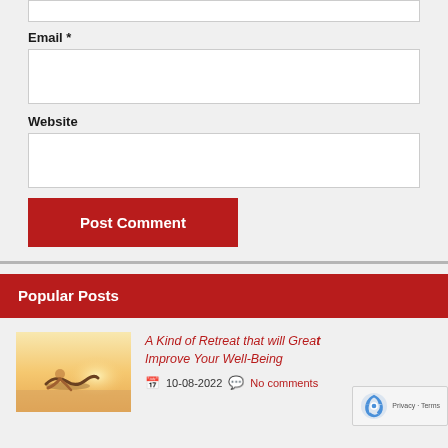Email *
Website
Post Comment
Popular Posts
[Figure (photo): Person doing yoga or stretching pose, warm sunrise/golden hour background]
A Kind of Retreat that will Greatly Improve Your Well-Being
10-08-2022  No comments